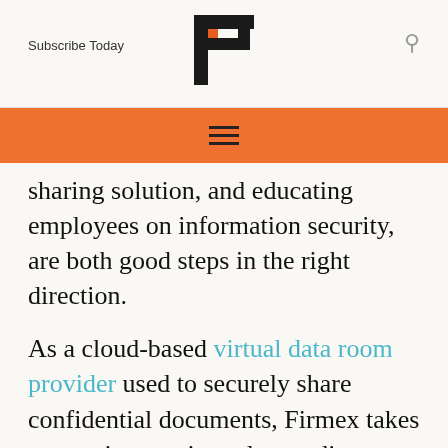Subscribe Today
[Figure (logo): Bold letter P logo with orange accent, publication masthead]
sharing solution, and educating employees on information security, are both good steps in the right direction.
As a cloud-based virtual data room provider used to securely share confidential documents, Firmex takes a great interest in understanding online security, and sharing our knowledge. In our latest Infographic we examine how to prevent spear phishing and cyber attacks.